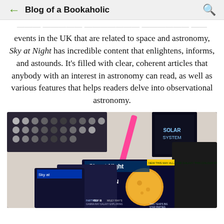Blog of a Bookaholic
... events in the UK that are related to space and astronomy, Sky at Night has incredible content that enlightens, informs, and astounds. It's filled with clear, coherent articles that anybody with an interest in astronomy can read, as well as various features that helps readers delve into observational astronomy.
[Figure (photo): Flat lay photo showing multiple issues of Sky at Night magazine alongside astronomy-related books and accessories on a white surface. Visible magazine covers include 'Sky at Night – Rise of the Full Moon', 'Sky at Glorious Gemini', and other issues. A dark book and pink/blue accessories are also visible.]